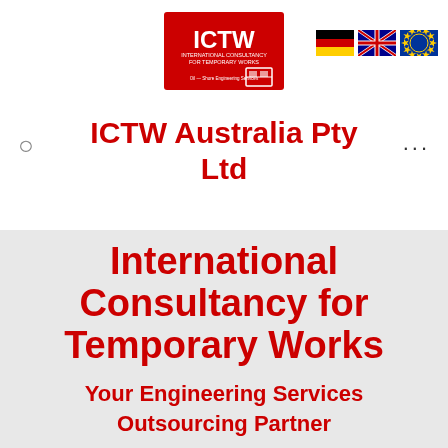[Figure (logo): ICTW logo — red rectangle with white text ICTW and engineering-related icon]
[Figure (illustration): Three national flags: German flag, Australian flag, EU flag]
ICTW Australia Pty Ltd
International Consultancy for Temporary Works
Your Engineering Services
Outsourcing Partner